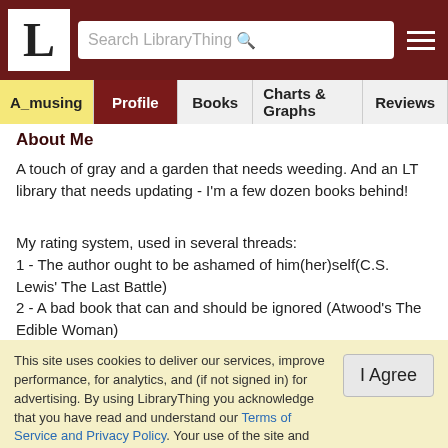LibraryThing navigation bar with logo, search box, and hamburger menu
A_musing | Profile | Books | Charts & Graphs | Reviews
About Me
A touch of gray and a garden that needs weeding. And an LT library that needs updating - I'm a few dozen books behind!
My rating system, used in several threads:
1 - The author ought to be ashamed of him(her)self(C.S. Lewis' The Last Battle)
2 - A bad book that can and should be ignored (Atwood's The Edible Woman)
3 - Written well enough, but why? (Dan Brown's DaVinci Code - and, yes, we all know why $$$)
This site uses cookies to deliver our services, improve performance, for analytics, and (if not signed in) for advertising. By using LibraryThing you acknowledge that you have read and understand our Terms of Service and Privacy Policy. Your use of the site and services is subject to these policies and terms.